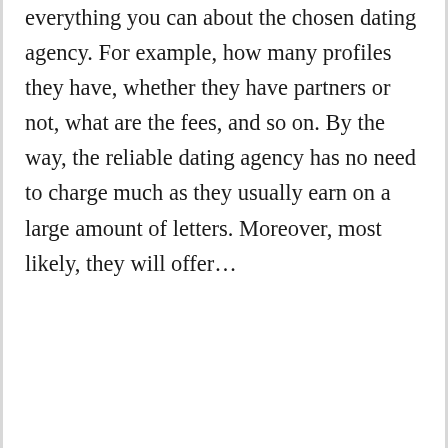everything you can about the chosen dating agency. For example, how many profiles they have, whether they have partners or not, what are the fees, and so on. By the way, the reliable dating agency has no need to charge much as they usually earn on a large amount of letters. Moreover, most likely, they will offer...
[Figure (other): Navigation bar with hamburger menu icon, social media icons (Facebook, Twitter, Instagram, Pinterest, heart/Bloglovin, Tumblr) in pink circles, and a pink search button]
About Life and Love blog uses cookies to ensure you get the best experience on our website. Learn more
Some words about scams
Scams are the main problem in the online dating world. That is especially true for small Russian women dating agencies that don't have any credit at the international databases. What they do is they ask you to send lots of cash